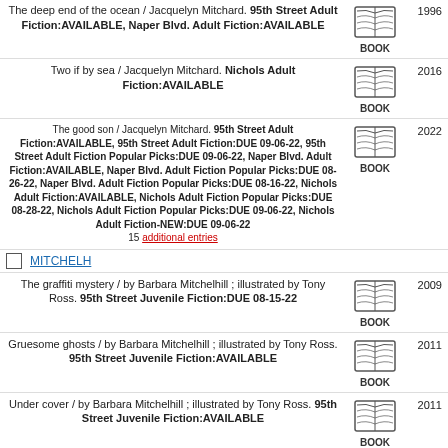The deep end of the ocean / Jacquelyn Mitchard. 95th Street Adult Fiction:AVAILABLE, Naper Blvd. Adult Fiction:AVAILABLE. 1996. BOOK
Two if by sea / Jacquelyn Mitchard. Nichols Adult Fiction:AVAILABLE. 2016. BOOK
The good son / Jacquelyn Mitchard. 95th Street Adult Fiction:AVAILABLE, 95th Street Adult Fiction:DUE 09-06-22, 95th Street Adult Fiction Popular Picks:DUE 09-06-22, Naper Blvd. Adult Fiction:AVAILABLE, Naper Blvd. Adult Fiction Popular Picks:DUE 08-26-22, Naper Blvd. Adult Fiction Popular Picks:DUE 08-16-22, Nichols Adult Fiction:AVAILABLE, Nichols Adult Fiction Popular Picks:DUE 08-28-22, Nichols Adult Fiction Popular Picks:DUE 09-06-22, Nichols Adult Fiction-NEW:DUE 09-06-22. 15 additional entries. 2022. BOOK
MITCHELH
The graffiti mystery / by Barbara Mitchelhill ; illustrated by Tony Ross. 95th Street Juvenile Fiction:DUE 08-15-22. 2009. BOOK
Gruesome ghosts / by Barbara Mitchelhill ; illustrated by Tony Ross. 95th Street Juvenile Fiction:AVAILABLE. 2011. BOOK
Under cover / by Barbara Mitchelhill ; illustrated by Tony Ross. 95th Street Juvenile Fiction:AVAILABLE. 2011. BOOK
The graffiti mystery / by Barbara Mitchelhill ; illustrated by Tony Ross. 95th Street Juvenile Fiction:DUE 08-15-22. 2009. BOOK